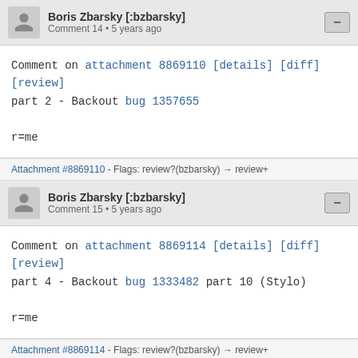Boris Zbarsky [:bzbarsky] Comment 14 • 5 years ago
Comment on attachment 8869110 [details] [diff] [review]
part 2 - Backout bug 1357655

r=me
Attachment #8869110 - Flags: review?(bzbarsky) → review+
Boris Zbarsky [:bzbarsky] Comment 15 • 5 years ago
Comment on attachment 8869114 [details] [diff] [review]
part 4 - Backout bug 1333482 part 10 (Stylo)

r=me
Attachment #8869114 - Flags: review?(bzbarsky) → review+